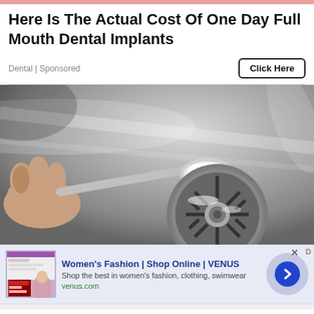Here Is The Actual Cost Of One Day Full Mouth Dental Implants
Dental | Sponsored
[Figure (photo): A hand holding a spoon with white powder (baking soda) over a kitchen sink drain]
[Figure (screenshot): Advertisement banner for Women's Fashion | Shop Online | VENUS. Text: Shop the best in women's fashion, clothing, swimwear. URL: venus.com]